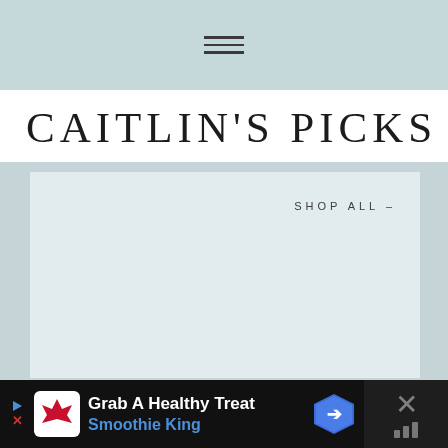Navigation menu icon (hamburger)
CAITLIN'S PICKS
SHOP ALL –
[Figure (screenshot): Light blue-gray content area with a lighter inner card panel, and a 'SHOP ALL –' navigation link in the upper right of the card]
Grab A Healthy Treat Smoothie King